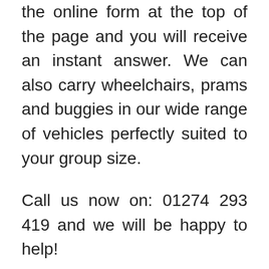the online form at the top of the page and you will receive an instant answer. We can also carry wheelchairs, prams and buggies in our wide range of vehicles perfectly suited to your group size.
Call us now on: 01274 293 419 and we will be happy to help!
We are available twenty four hours a day, seven days a week and you can book in advance or at very short notice. You can also book online or by telephone. Call us now for all your travel